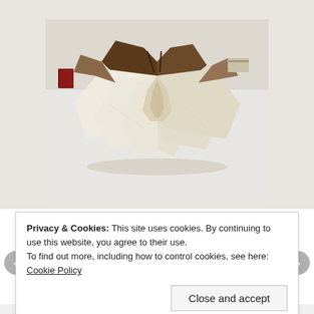[Figure (photo): A handmade artist book with accordion-fold pages opened like a fan, displayed on a white surface. The pages appear to be made of aged, textured paper/fabric materials. Other small books and objects are visible in the background.]
Privacy & Cookies: This site uses cookies. By continuing to use this website, you agree to their use.
To find out more, including how to control cookies, see here: Cookie Policy
Close and accept
WORDPRESS.COM